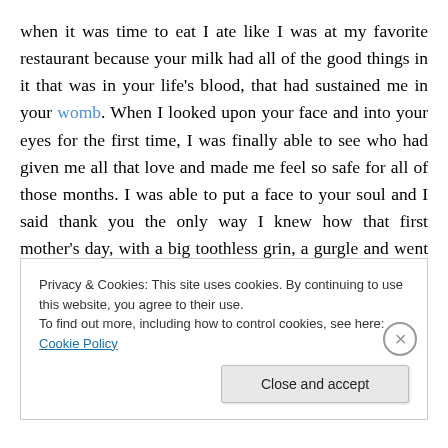when it was time to eat I ate like I was at my favorite restaurant because your milk had all of the good things in it that was in your life's blood, that had sustained me in your womb. When I looked upon your face and into your eyes for the first time, I was finally able to see who had given me all that love and made me feel so safe for all of those months. I was able to put a face to your soul and I said thank you the only way I knew how that first mother's day, with a big toothless grin, a gurgle and went back to sleep, so you could get some much deserved rest.
Privacy & Cookies: This site uses cookies. By continuing to use this website, you agree to their use. To find out more, including how to control cookies, see here: Cookie Policy